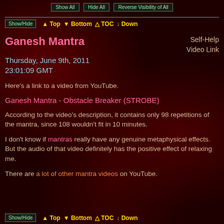Show All   Hide All   Reverse Visibility of All
Show/Hide  ▲ Top  ▼ Bottom  △ TOC  ↓ Down
Ganesh Mantra
Self-Help
Video Link
Thursday, June 9th, 2011
23:01:09 GMT
Here's a link to a video from YouTube.
Ganesh Mantra - Obstacle Breaker (STROBE)
According to the video's description, it contains only 98 repetitions of the mantra, since 108 wouldn't fit in 10 minutes.
I don't know if mantras really have any genuine metaphysical effects. But the audio of that video definitely has the positive effect of relaxing me.
There are a lot of other mantra videos on YouTube.
Show/Hide  ▲ Top  ▼ Bottom  △ TOC  ↓ Down